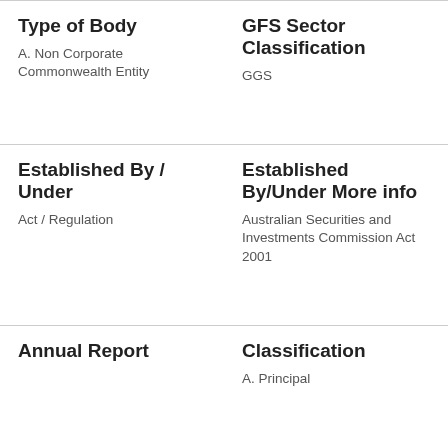Type of Body
A. Non Corporate Commonwealth Entity
GFS Sector Classification
GGS
Established By / Under
Act / Regulation
Established By/Under More info
Australian Securities and Investments Commission Act 2001
Annual Report
Classification
A. Principal